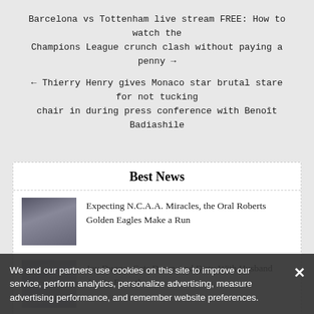Barcelona vs Tottenham live stream FREE: How to watch the Champions League crunch clash without paying a penny →
← Thierry Henry gives Monaco star brutal stare for not tucking chair in during press conference with Benoît Badiashile
Best News
Expecting N.C.A.A. Miracles, the Oral Roberts Golden Eagles Make a Run
Joy Duggar Gets Down And Dirty With Husband Austin Forsyth
Iran risks infuriating US by claiming seized supertanker leased to Revolutionary Guard
The New 'Grey's Anatomy' Trailer Teases What Meredith Is Up To After She Lost Her Job
We and our partners use cookies on this site to improve our service, perform analytics, personalize advertising, measure advertising performance, and remember website preferences.